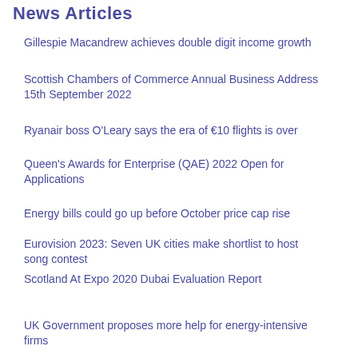News Articles
Gillespie Macandrew achieves double digit income growth
Scottish Chambers of Commerce Annual Business Address 15th September 2022
Ryanair boss O'Leary says the era of €10 flights is over
Queen's Awards for Enterprise (QAE) 2022 Open for Applications
Energy bills could go up before October price cap rise
Eurovision 2023: Seven UK cities make shortlist to host song contest
Scotland At Expo 2020 Dubai Evaluation Report
UK Government proposes more help for energy-intensive firms